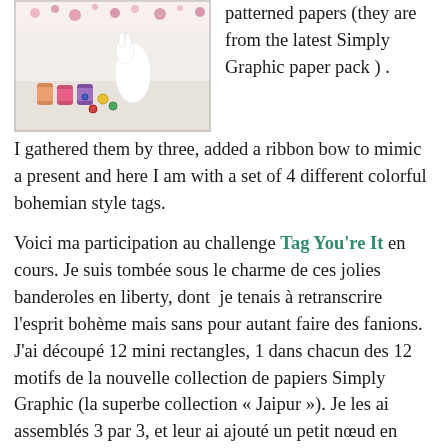[Figure (photo): Photo of sewing threads, buttons, and a white ceramic animal figurine on a white surface with floral patterned paper in the background.]
patterned papers (they are from the latest Simply Graphic paper pack ) . I gathered them by three, added a ribbon bow to mimic a present and here I am with a set of 4 different colorful bohemian style tags.
Voici ma participation au challenge Tag You're It en cours. Je suis tombée sous le charme de ces jolies banderoles en liberty, dont  je tenais à retranscrire l'esprit bohème mais sans pour autant faire des fanions. J'ai découpé 12 mini rectangles, 1 dans chacun des 12 motifs de la nouvelle collection de papiers Simply Graphic (la superbe collection « Jaipur »). Je les ai assemblés 3 par 3, et leur ai ajouté un petit nœud en ruban pour imiter des